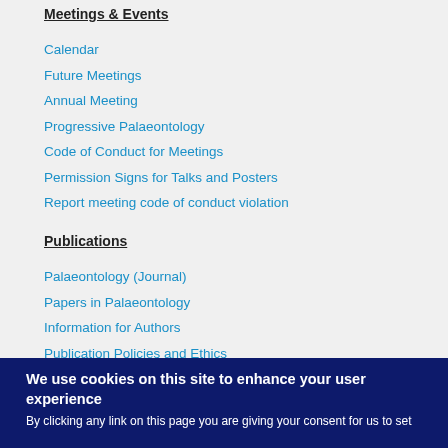Meetings & Events
Calendar
Future Meetings
Annual Meeting
Progressive Palaeontology
Code of Conduct for Meetings
Permission Signs for Talks and Posters
Report meeting code of conduct violation
Publications
Palaeontology (Journal)
Papers in Palaeontology
Information for Authors
Publication Policies and Ethics
Editorial board
Special Papers in Palaeontology
We use cookies on this site to enhance your user experience
By clicking any link on this page you are giving your consent for us to set